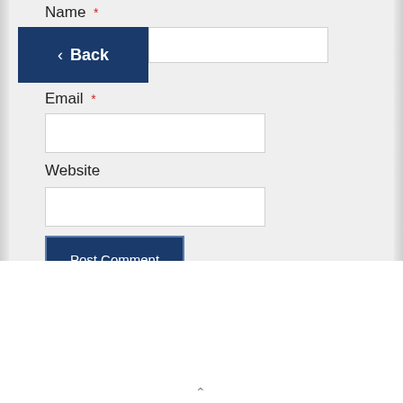Name *
[Figure (screenshot): Back navigation button with left arrow, dark navy blue background, white text reading '< Back']
Email *
Website
[Figure (screenshot): Post Comment button, dark navy blue background, white text, with dashed border outline]